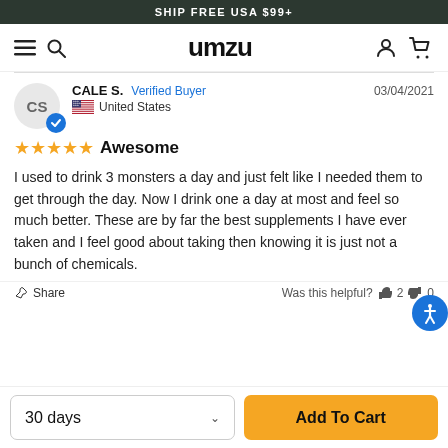SHIP FREE USA $99+
[Figure (logo): UMZU logo with hamburger menu, search icon, user icon, and cart icon in navigation bar]
CALE S. Verified Buyer 03/04/2021 United States
★★★★★ Awesome
I used to drink 3 monsters a day and just felt like I needed them to get through the day. Now I drink one a day at most and feel so much better. These are by far the best supplements I have ever taken and I feel good about taking then knowing it is just not a bunch of chemicals.
Share   Was this helpful?  2  0
30 days   Add To Cart